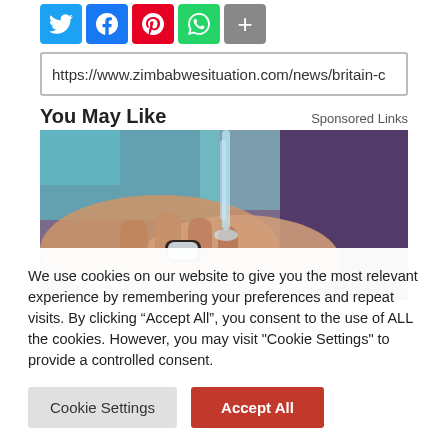[Figure (other): Social media share buttons: Twitter (blue), Facebook (blue), Pinterest (red), WhatsApp (green), More (grey plus)]
https://www.zimbabwesituation.com/news/britain-c
You May Like
Sponsored Links
[Figure (photo): Close-up photo of hands washing with water from a tap, with a black and white ring/accessory visible on a finger]
We use cookies on our website to give you the most relevant experience by remembering your preferences and repeat visits. By clicking “Accept All”, you consent to the use of ALL the cookies. However, you may visit "Cookie Settings" to provide a controlled consent.
Cookie Settings
Accept All